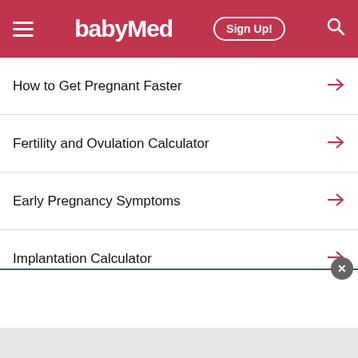babyMed
How to Get Pregnant Faster
Fertility and Ovulation Calculator
Early Pregnancy Symptoms
Implantation Calculator
Sign Up for Our Fertility Course!
[Figure (illustration): Badge/seal icon in red outline]